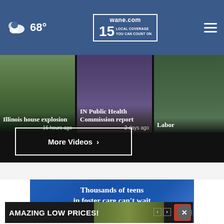wane.com 15 LOCAL COVERAGE YOU CAN COUNT ON | 68°
[Figure (screenshot): Video thumbnail: Illinois house explosion, 16 hours ago]
[Figure (screenshot): Video thumbnail: IN Public Health Commission report, 2 days ago]
[Figure (screenshot): Video thumbnail: Labor (partially visible)]
Illinois house explosion
16 hours ago
IN Public Health Commission report
2 days ago
Labor
More Videos ›
[Figure (advertisement): Thousands of teens in foster care can't wait to share their firsts with you]
[Figure (advertisement): AMAZING LOW PRICES! bottom banner ad]